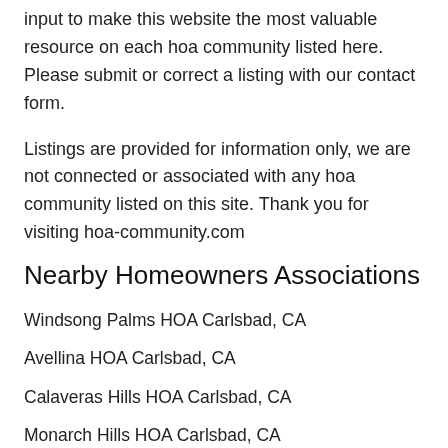input to make this website the most valuable resource on each hoa community listed here. Please submit or correct a listing with our contact form.
Listings are provided for information only, we are not connected or associated with any hoa community listed on this site. Thank you for visiting hoa-community.com
Nearby Homeowners Associations
Windsong Palms HOA Carlsbad, CA
Avellina HOA Carlsbad, CA
Calaveras Hills HOA Carlsbad, CA
Monarch Hills HOA Carlsbad, CA